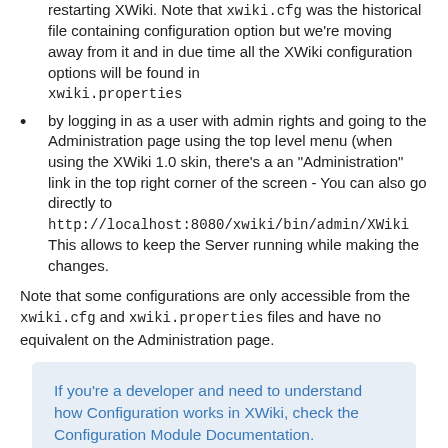restarting XWiki. Note that xwiki.cfg was the historical file containing configuration option but we're moving away from it and in due time all the XWiki configuration options will be found in xwiki.properties
by logging in as a user with admin rights and going to the Administration page using the top level menu (when using the XWiki 1.0 skin, there's a an "Administration" link in the top right corner of the screen - You can also go directly to http://localhost:8080/xwiki/bin/admin/XWiki This allows to keep the Server running while making the changes.
Note that some configurations are only accessible from the xwiki.cfg and xwiki.properties files and have no equivalent on the Administration page.
If you're a developer and need to understand how Configuration works in XWiki, check the Configuration Module Documentation.